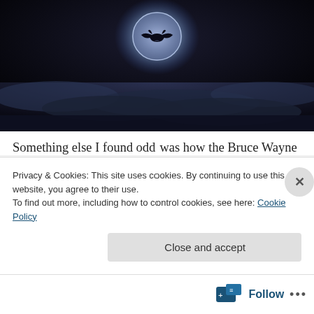[Figure (photo): Dark sky scene with a bat signal (Batman logo) glowing in the night sky above misty clouds.]
Something else I found odd was how the Bruce Wayne = Batman plot device was handled, in that it seems to be played as though it both is and isn't a secret. If I recall correctly, it isn't confirmed that Wayne spends his
Privacy & Cookies: This site uses cookies. By continuing to use this website, you agree to their use.
To find out more, including how to control cookies, see here: Cookie Policy
Close and accept
Follow